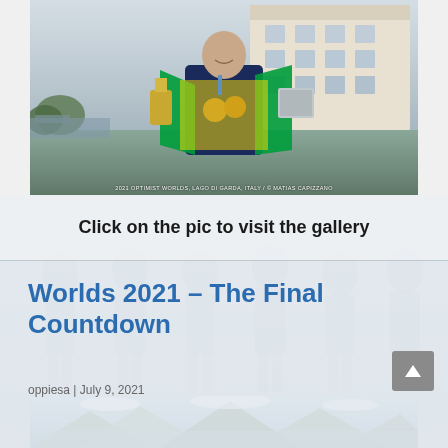[Figure (photo): A person wearing a Brazilian flag as a cape, holding trophies and medals, standing in front of a white building. Caption reads: 2021 OPTIMIST WORLDS, LAGO DI GARDA, ITALY / © MATIAS CAPIZZANO]
Click on the pic to visit the gallery
Worlds 2021 – The Final Countdown
oppiesa | July 9, 2021
[Figure (photo): Partial bottom image showing a lake with mountains in the background, teaser for next article]